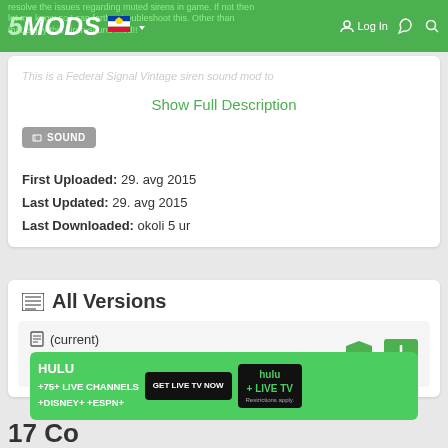5MODS — Log In navigation bar with flag selector, dark mode, and search icons
resolve the issues regarding muted sirens in game. If not then let me know so I can farther troubleshoot this. Other than that enjoy this siren sound mod!!
This is a Federal Signal Vintage siren sound mod to
Show Full Description
SOUND
First Uploaded: 29. avg 2015
Last Updated: 29. avg 2015
Last Downloaded: okoli 5 ur
All Versions
(current)
2.644 downloads , 10 MB
29. avg 2015
[Figure (screenshot): Hulu advertisement banner: HULU +75+ LIVE CHANNELS +DISNEY+ +ESPN+ with GET LIVE TV NOW button and Hulu + Live TV logo]
17 Co